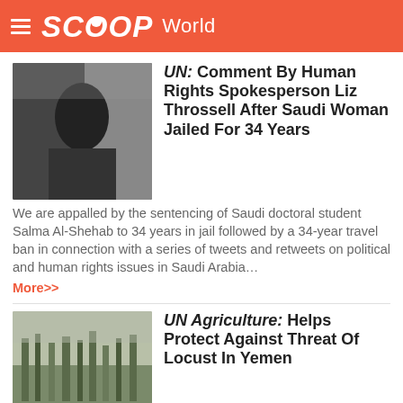SCOOP World
UN: Comment By Human Rights Spokesperson Liz Throssell After Saudi Woman Jailed For 34 Years
We are appalled by the sentencing of Saudi doctoral student Salma Al-Shehab to 34 years in jail followed by a 34-year travel ban in connection with a series of tweets and retweets on political and human rights issues in Saudi Arabia... More>>
UN Agriculture: Helps Protect Against Threat Of Locust In Yemen
Following heavy widespread rains in Yemen, the Food and Agriculture Organization (FAO) remains on high alert... More>>